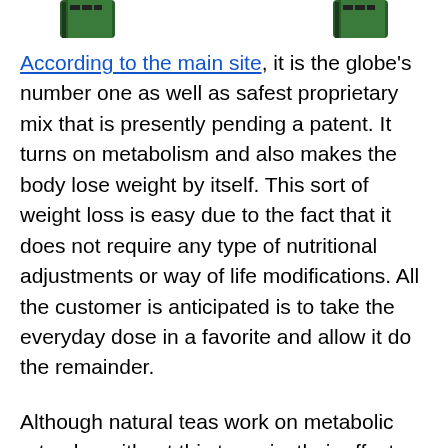[Figure (photo): Top edge of page showing partial product images on left and right corners against white background]
According to the main site, it is the globe's number one as well as safest proprietary mix that is presently pending a patent. It turns on metabolism and also makes the body lose weight by itself. This sort of weight loss is easy due to the fact that it does not require any type of nutritional adjustments or way of life modifications. All the customer is anticipated is to take the everyday dose in a favorite and allow it do the remainder.
Although natural teas work on metabolic rate also without this tea mix, their effects are sluggish and take a long period of time to show. Tea Burn powder supercharges its effects, utilizing the components like L-theanine, minerals, and also